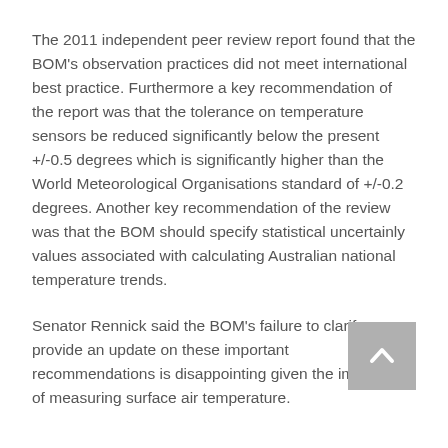The 2011 independent peer review report found that the BOM's observation practices did not meet international best practice. Furthermore a key recommendation of the report was that the tolerance on temperature sensors be reduced significantly below the present +/-0.5 degrees which is significantly higher than the World Meteorological Organisations standard of +/-0.2 degrees. Another key recommendation of the review was that the BOM should specify statistical uncertainly values associated with calculating Australian national temperature trends.
Senator Rennick said the BOM's failure to clarify or provide an update on these important recommendations is disappointing given the importance of measuring surface air temperature.